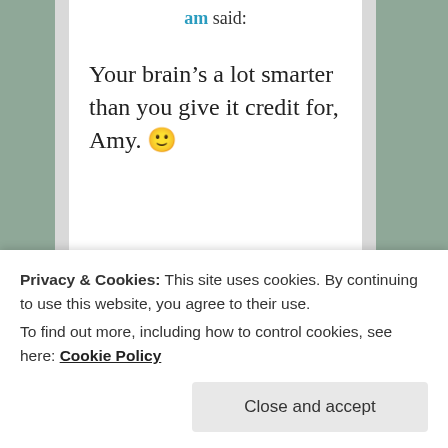am said:
Your brain’s a lot smarter than you give it credit for, Amy. 🙂
★ Liked by 1 person
Privacy & Cookies: This site uses cookies. By continuing to use this website, you agree to their use.
To find out more, including how to control cookies, see here: Cookie Policy